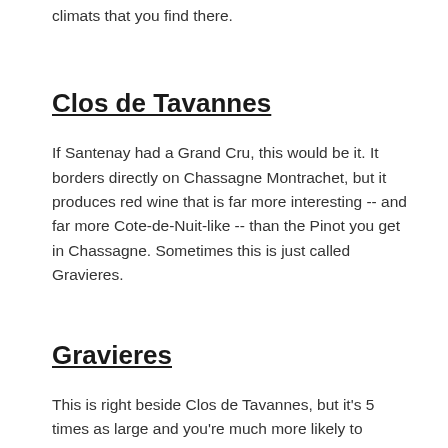climats that you find there.
Clos de Tavannes
If Santenay had a Grand Cru, this would be it.  It borders directly on Chassagne Montrachet, but it produces red wine that is far more interesting -- and far more Cote-de-Nuit-like -- than the Pinot you get in Chassagne.  Sometimes this is just called Gravieres.
Gravieres
This is right beside Clos de Tavannes, but it's 5 times as large and you're much more likely to